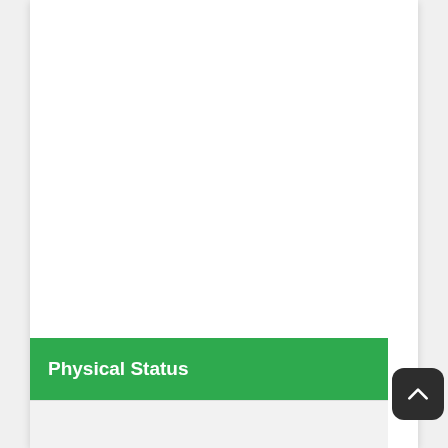Physical Status
|  |  |
| --- | --- |
| Height | 6' 2" (1.88 m) |